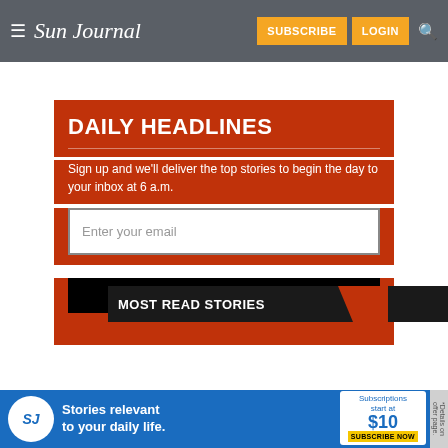≡ Sun Journal  SUBSCRIBE  LOGIN  🔍
DAILY HEADLINES
Sign up and we'll deliver the top stories to begin the day to your inbox at 6 a.m.
Enter your email
SUBMIT
MOST READ STORIES
[Figure (infographic): Sun Journal subscription advertisement banner: SJ logo, text 'Stories relevant to your daily life.' Subscriptions start at $10. Subscribe Now.]